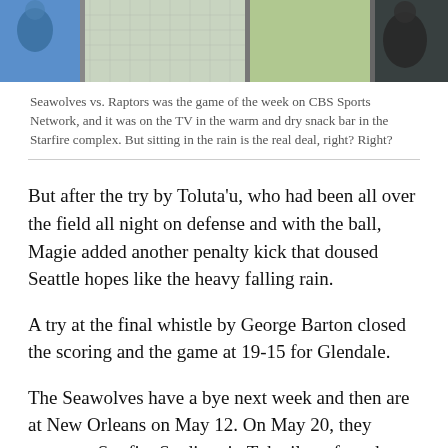[Figure (photo): Photo strip showing Seawolves vs. Raptors rugby game scenes through chain-link fence in rainy conditions]
Seawolves vs. Raptors was the game of the week on CBS Sports Network, and it was on the TV in the warm and dry snack bar in the Starfire complex. But sitting in the rain is the real deal, right? Right?
But after the try by Toluta’u, who had been all over the field all night on defense and with the ball, Magie added another penalty kick that doused Seattle hopes like the heavy falling rain.
A try at the final whistle by George Barton closed the scoring and the game at 19-15 for Glendale.
The Seawolves have a bye next week and then are at New Orleans on May 12. On May 20, they return to Starfire Stadium in Tukwila to face the Utah Warriors and then the New Orleans Gold at home on May 27.